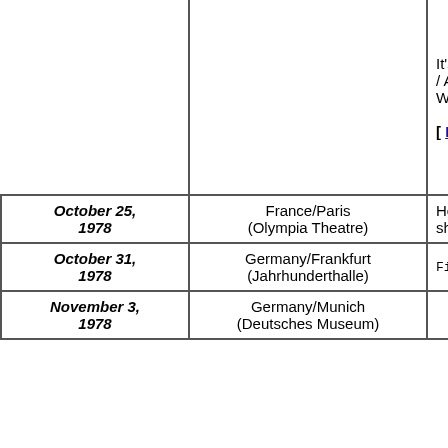| Date | Location/Venue | Notes |
| --- | --- | --- |
|  |  | It's A Miracle (Reprise) / It's J... / All The Time / Somewhere Woodside/Cloudburst/Ban... [ Manilow TV/Ar... |
| October 25, 1978 | France/Paris (Olympia Theatre) | He fractured his ankle an h... sho... |
| October 31, 1978 | Germany/Frankfurt (Jahrhunderthalle) | First Show - Bib... |
| November 3, 1978 | Germany/Munich (Deutsches Museum) |  |
...End of 1978...
Forward to 1979?
This Page Created August 29, 1997 (Last Updated November 26, 2021)
Barry Manilow International Fan Club and the BarryNet, ©1996-2021
Return to Past Performances...